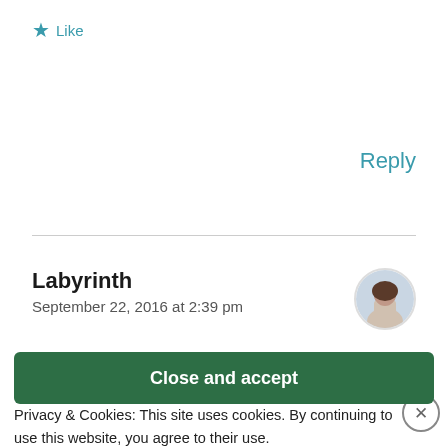★ Like
Reply
Labyrinth
September 22, 2016 at 2:39 pm
Wow! First time watching the film and I must admit, I ... exceptional and it made ...
Privacy & Cookies: This site uses cookies. By continuing to use this website, you agree to their use.
To find out more, including how to control cookies, see here:
Cookie Policy
Close and accept